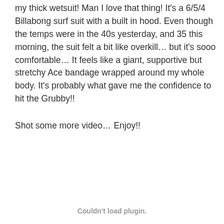my thick wetsuit! Man I love that thing! It's a 6/5/4 Billabong surf suit with a built in hood. Even though the temps were in the 40s yesterday, and 35 this morning, the suit felt a bit like overkill... but it's sooo comfortable... It feels like a giant, supportive but stretchy Ace bandage wrapped around my whole body. It's probably what gave me the confidence to hit the Grubby!!
Shot some more video... Enjoy!!
[Figure (other): Couldn't load plugin. placeholder area for an embedded video plugin.]